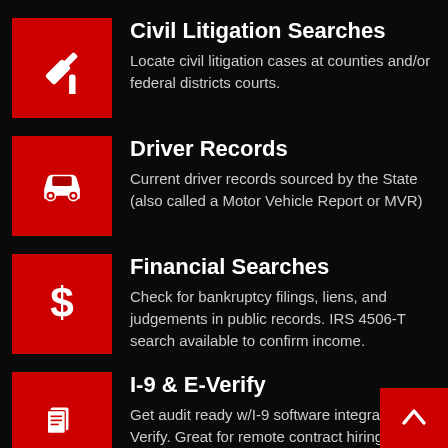Civil Litigation Searches
Locate civil litigation cases at counties and/or federal districts courts.
Driver Records
Current driver records sourced by the State (also called a Motor Vehicle Report or MVR)
Financial Searches
Check for bankruptcy filings, liens, and judgements in public records. IRS 4506-T search available to confirm income.
I-9 & E-Verify
Get audit ready w/I-9 software integrated wit Verify. Great for remote contract hiring and federal